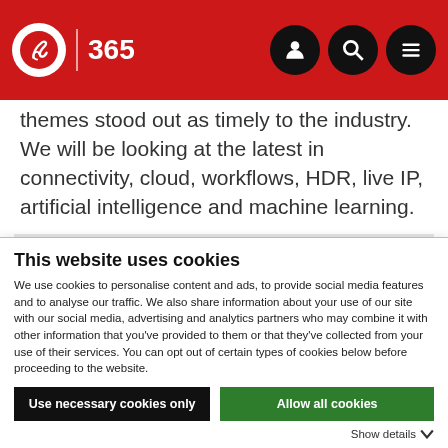IBC 365 | navigation header with user, search, and menu icons
themes stood out as timely to the industry. We will be looking at the latest in connectivity, cloud, workflows, HDR, live IP, artificial intelligence and machine learning.
We genuinely can’t wait to hear from some of the industry’s leading lights whose cutting-edge work will shape the future of the industry, including...
This website uses cookies
We use cookies to personalise content and ads, to provide social media features and to analyse our traffic. We also share information about your use of our site with our social media, advertising and analytics partners who may combine it with other information that you’ve provided to them or that they’ve collected from your use of their services. You can opt out of certain types of cookies below before proceeding to the website.
Use necessary cookies only | Allow all cookies
Show details